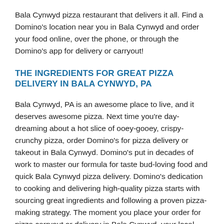Bala Cynwyd pizza restaurant that delivers it all. Find a Domino's location near you in Bala Cynwyd and order your food online, over the phone, or through the Domino's app for delivery or carryout!
THE INGREDIENTS FOR GREAT PIZZA DELIVERY IN BALA CYNWYD, PA
Bala Cynwyd, PA is an awesome place to live, and it deserves awesome pizza. Next time you're day-dreaming about a hot slice of ooey-gooey, crispy-crunchy pizza, order Domino's for pizza delivery or takeout in Bala Cynwyd. Domino's put in decades of work to master our formula for taste bud-loving food and quick Bala Cynwyd pizza delivery. Domino's dedication to cooking and delivering high-quality pizza starts with sourcing great ingredients and following a proven pizza-making strategy. The moment you place your order for pizza carryout or delivery in Bala Cynwyd, your local Domino's jumps into action. Your Brooklyn-style, hand-tossed, crunchy thin crust, or gluten-free crust pizza dough is readied for the oven and covered in whatever sauce you choose. You can play it simple with a traditional marinara or kick things up a notch with Alfredo sauce, BBQ sauce, or garlic parmesan white